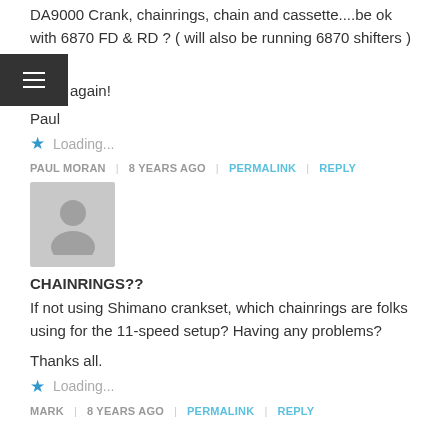DA9000 Crank, chainrings, chain and cassette....be ok with 6870 FD & RD ? ( will also be running 6870 shifters ) ....?
Thanks again!
Paul
Loading...
PAUL MORAN | 8 YEARS AGO | PERMALINK | REPLY
[Figure (photo): Default user avatar placeholder - grey silhouette of a person]
CHAINRINGS??
If not using Shimano crankset, which chainrings are folks using for the 11-speed setup? Having any problems?
Thanks all.
Loading...
MARK | 8 YEARS AGO | PERMALINK | REPLY